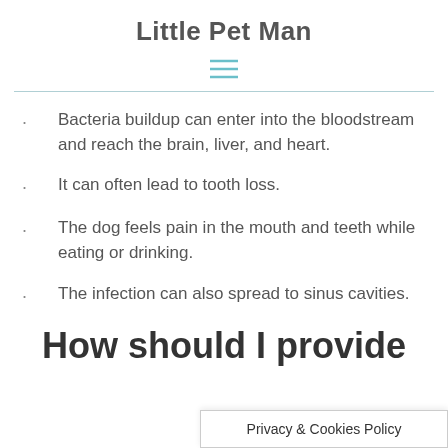Little Pet Man
Bacteria buildup can enter into the bloodstream and reach the brain, liver, and heart.
It can often lead to tooth loss.
The dog feels pain in the mouth and teeth while eating or drinking.
The infection can also spread to sinus cavities.
How should I provide
Privacy & Cookies Policy